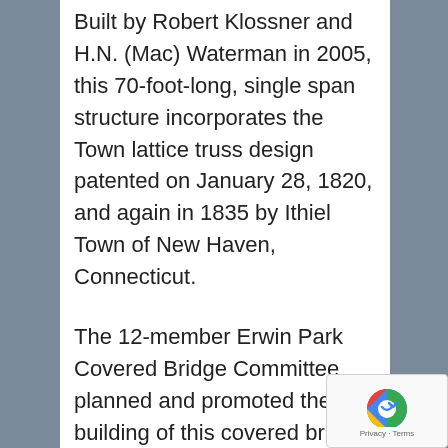Built by Robert Klossner and H.N. (Mac) Waterman in 2005, this 70-foot-long, single span structure incorporates the Town lattice truss design patented on January 28, 1820, and again in 1835 by Ithiel Town of New Haven, Connecticut.
The 12-member Erwin Park Covered Bridge Committee planned and promoted the building of this covered bridge. The bridge spans 70 feet and the deck is 24 feet and accommodates a 14-foot driving area and a 6-foot walkway. Total construction cost was approximately $150,000 with